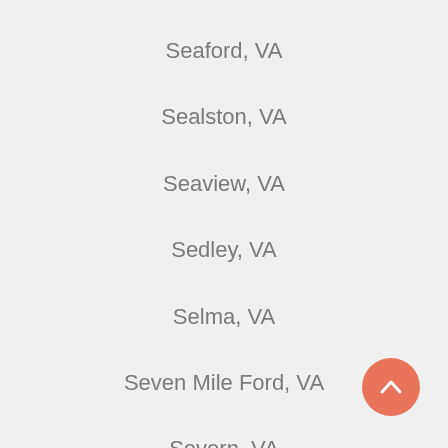Seaford, VA
Sealston, VA
Seaview, VA
Sedley, VA
Selma, VA
Seven Mile Ford, VA
Severn, VA